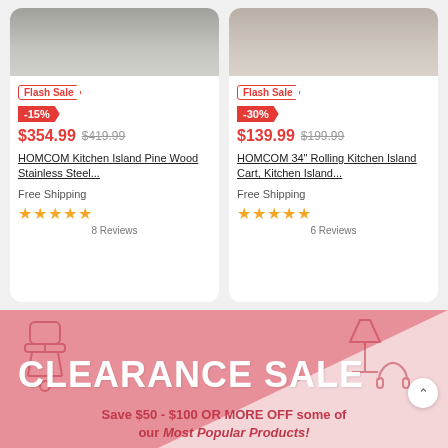[Figure (photo): Product card 1: Kitchen Island with grey/wood finish, top portion cut off]
Flash Sale
-15%
$354.99  $419.99
HOMCOM Kitchen Island Pine Wood Stainless Steel...
Free Shipping
★★★★★ 8 Reviews
[Figure (photo): Product card 2: Rolling Kitchen Island Cart, top portion cut off]
Flash Sale
-30%
$139.99  $199.99
HOMCOM 34" Rolling Kitchen Island Cart, Kitchen Island...
Free Shipping
★★★★★ 6 Reviews
[Figure (illustration): Clearance Sale promotional banner with pink background, decorative outline icons of chair, lamp, headset. Large white text CLEARANCE SALE with diagonal light pink triangle.]
Save $50 - $100 OR MORE OFF some of our Most Popular Products!